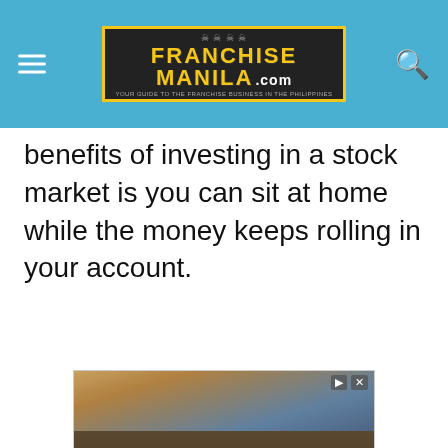FranchiseManila.com
benefits of investing in a stock market is you can sit at home while the money keeps rolling in your account.
[Figure (photo): Advertisement banner for Washington State University showing a stone wall with 'WASHINGTON STATE' text and WSU logo, with overlay text 'Graduate Online in 16 Months' and 'Graduate from Top-']